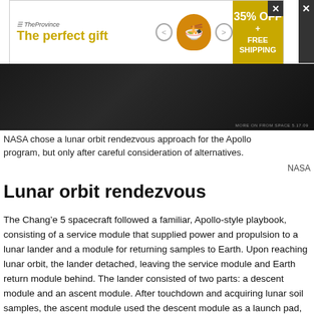[Figure (other): Advertisement banner for 'The perfect gift' featuring a golden bowl, navigation arrows, and a '35% OFF + FREE SHIPPING' offer label in gold/yellow]
[Figure (photo): Dark background photograph related to NASA lunar orbit, partial image visible at top of page with a white arrow/trajectory curve visible]
NASA chose a lunar orbit rendezvous approach for the Apollo program, but only after careful consideration of alternatives.
NASA
Lunar orbit rendezvous
The Chang’e 5 spacecraft followed a familiar, Apollo-style playbook, consisting of a service module that supplied power and propulsion to a lunar lander and a module for returning samples to Earth. Upon reaching lunar orbit, the lander detached, leaving the service module and Earth return module behind. The lander consisted of two parts: a descent module and an ascent module. After touchdown and acquiring lunar soil samples, the ascent module used the descent module as a launch pad, blasting off from the moon’s surface to rendezvous with the patiently waiting components of Chang’e 5 in lunar orbit.